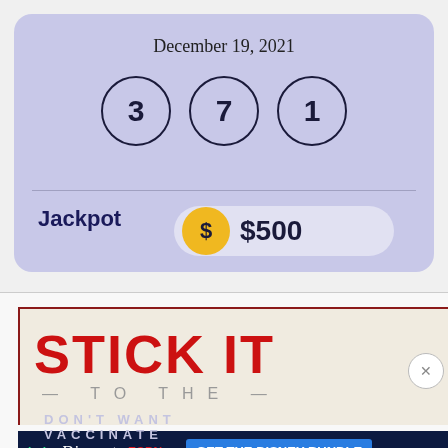December 19, 2021
[Figure (infographic): Lottery draw results showing three numbered balls: 3, 7, 1 in circles on a lavender background]
Jackpot  $500
[Figure (screenshot): Movie advertisement for 'STICK IT' with red bold text on beige background with person image]
[Figure (infographic): Disney Bundle advertisement with Hulu, Disney+, ESPN+ logos and 'GET THE DISNEY BUNDLE' call to action button on dark blue background]